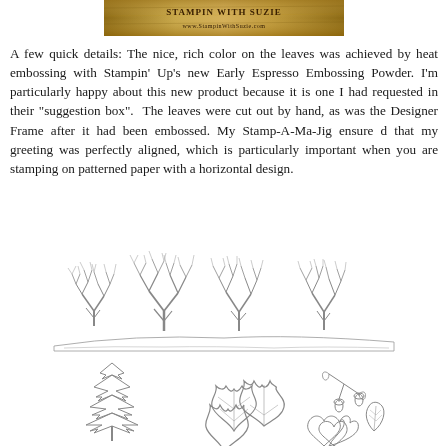[Figure (photo): Banner image at top of page showing a decorative autumn/Thanksgiving themed header with text and warm golden-brown tones, including a website URL www.StampinWithSuzie.com]
A few quick details: The nice, rich color on the leaves was achieved by heat embossing with Stampin' Up's new Early Espresso Embossing Powder. I'm particularly happy about this new product because it is one I had requested in their "suggestion box".  The leaves were cut out by hand, as was the Designer Frame after it had been embossed. My Stamp-A-Ma-Jig ensure d that my greeting was perfectly aligned, which is particularly important when you are stamping on patterned paper with a horizontal design.
[Figure (illustration): Black and white line drawing illustration of bare winter trees in a landscape scene (top half) and botanical elements including an evergreen/pine tree, oak leaves, acorns with branches, and a single leaf (bottom half)]